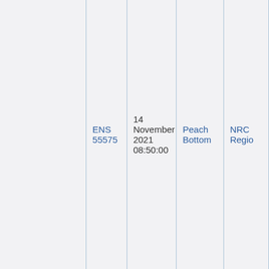|  | ENS # | Date/Time | Facility | Notified By |
| --- | --- | --- | --- | --- |
|  | ENS 55575 | 14 November 2021 08:50:00 | Peach Bottom | NRC Region |